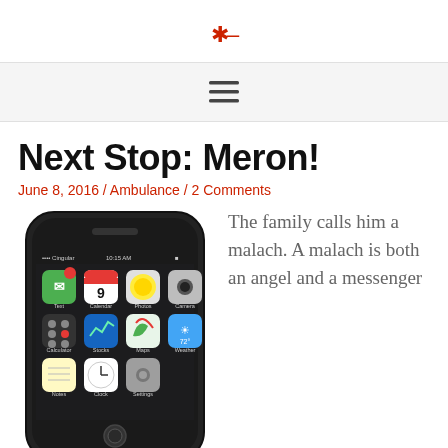*–
[Figure (other): Hamburger menu icon (three horizontal lines stacked)]
Next Stop: Meron!
June 8, 2016 / Ambulance / 2 Comments
[Figure (photo): Photograph of an early iPhone (iPhone 3G/3GS) showing the home screen with apps including SMS, Calendar, Photos, Camera, Calculator, Stocks, Maps, Weather, Notes, Clock, and Settings.]
The family calls him a malach. A malach is both an angel and a messenger